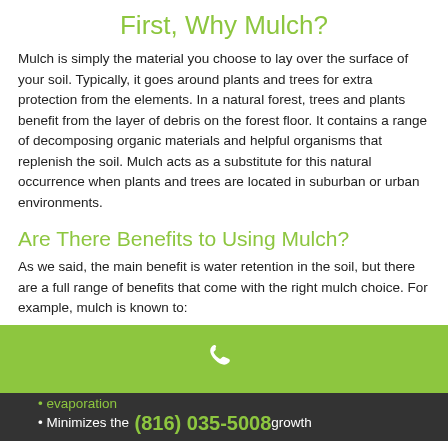First, Why Mulch?
Mulch is simply the material you choose to lay over the surface of your soil. Typically, it goes around plants and trees for extra protection from the elements. In a natural forest, trees and plants benefit from the layer of debris on the forest floor. It contains a range of decomposing organic materials and helpful organisms that replenish the soil. Mulch acts as a substitute for this natural occurrence when plants and trees are located in suburban or urban environments.
Are There Benefits to Using Mulch?
As we said, the main benefit is water retention in the soil, but there are a full range of benefits that come with the right mulch choice. For example, mulch is known to:
[Figure (infographic): Green bar with white phone icon]
evaporation
Minimizes the... (816) 035-5008 ...growth